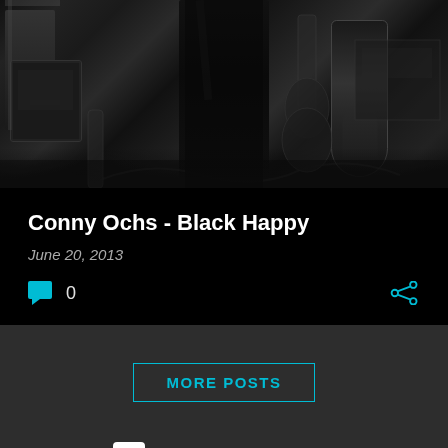[Figure (photo): Black and white photo of a musician in a recording studio with guitars and amplifiers visible in the background]
Conny Ochs - Black Happy
June 20, 2013
0
MORE POSTS
Powered by Blogger